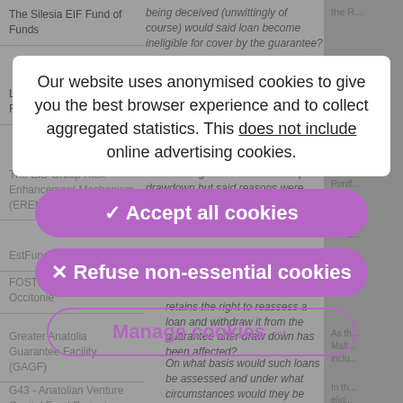| Fund/Instrument | Question | Response |
| --- | --- | --- |
| The Silesia EIF Fund of Funds | ...being deceived (unwittingly of course) would said loan become ineligible for cover by the guarantee? | ...the R... |
| La Financière Région Réunion |  | If an... elig... Pontf... the F... |
| The EIB Group Risk Enhancement Mechanism (EREM) | ...loan is ineligible for the scheme post drawdown but said reasons were entirely out of the hands of the intermediary at the time of sanction? | The t... Pontf... in the... by E... exclu... the E... |
| EstFund |  |  |
| FOSTER TPE-PME Occitanie | 7. Can it be confirmed that EIF retains the right to reassess a loan and withdraw it from the guarantee after draw down has been affected? | As th... Malt... inclu... |
| Greater Anatolia Guarantee Facility (GAGF) | 8. On what basis would such loans be assessed and under what circumstances would they be | In th... elig... have... |
| G43 - Anatolian Venture Capital Fund Project |  |  |
| InvestBG Equity Instrument |  |  |
Our website uses anonymised cookies to give you the best browser experience and to collect aggregated statistics. This does not include online advertising cookies.
Accept all cookies
Refuse non-essential cookies
Manage cookies →